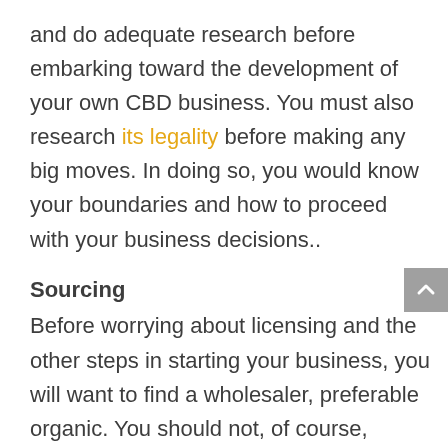and do adequate research before embarking toward the development of your own CBD business. You must also research its legality before making any big moves. In doing so, you would know your boundaries and how to proceed with your business decisions..
Sourcing
Before worrying about licensing and the other steps in starting your business, you will want to find a wholesaler, preferable organic. You should not, of course, purchase from them until you have your license – but